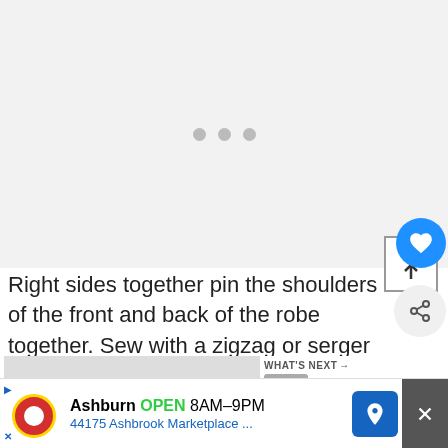[Figure (photo): Loading placeholder with three grey dots centered on a light grey background, representing an image loading state]
[Figure (screenshot): Save button (blue circle with heart icon) overlaying a square outline with upward arrow, showing count 513 below]
Right sides together pin the shoulders of the front and back of the robe together. Sew with a zigzag or serger at 3/8 inch seam a
[Figure (screenshot): What's Next callout showing thumbnail and text 'How to Sew a Neckband']
[Figure (screenshot): Advertisement bar: Ashburn OPEN 8AM-9PM, 44175 Ashbrook Marketplace]